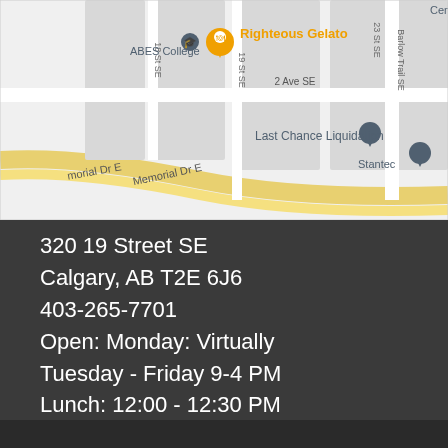[Figure (map): Google Maps screenshot showing the area around 320 19 Street SE, Calgary. Visible landmarks include ABES College, Righteous Gelato (orange pin, highlighted), Chasin' Tails, Stantec, Last Chance Liquidation. Streets shown include 18 St SE, 19 St SE, 2 Ave SE, Memorial Dr E, Barlow Trail SE.]
320 19 Street SE
Calgary, AB T2E 6J6
403-265-7701
Open: Monday: Virtually
Tuesday - Friday 9-4 PM
Lunch: 12:00 - 12:30 PM